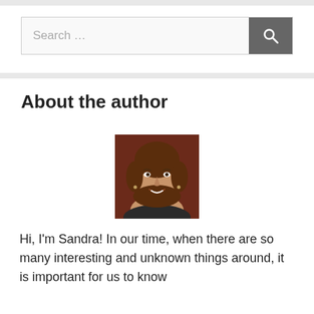Search …
About the author
[Figure (photo): Portrait photo of a smiling woman with brown hair, Sandra, against a dark reddish background.]
Hi, I'm Sandra! In our time, when there are so many interesting and unknown things around, it is important for us to know something about which it will b…